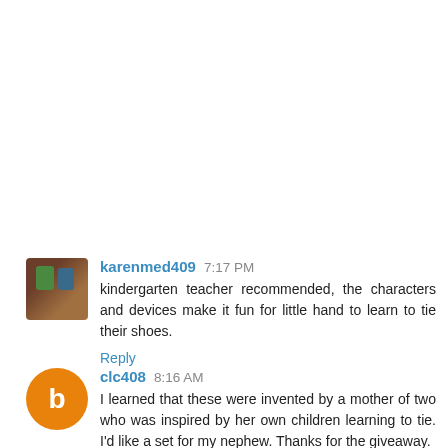[Figure (photo): Small avatar photo of karenmed409 showing two people outdoors]
karenmed409  7:17 PM
kindergarten teacher recommended, the characters and devices make it fun for little hand to learn to tie their shoes.
Reply
[Figure (illustration): Orange circle avatar with white blogger B icon for clc408]
clc408  8:16 AM
I learned that these were invented by a mother of two who was inspired by her own children learning to tie. I'd like a set for my nephew. Thanks for the giveaway.